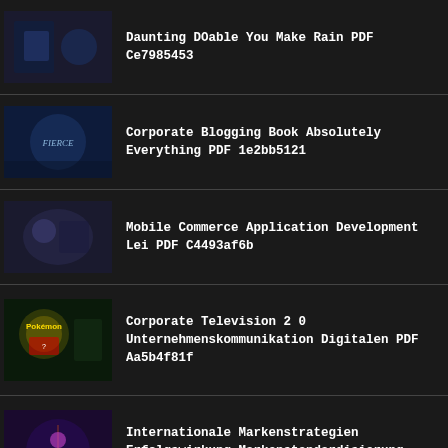Daunting DOable You Make Rain PDF Ce7985453
Corporate Blogging Book Absolutely Everything PDF 1e2bb5121
Mobile Commerce Application Development Lei PDF C4493af6b
Corporate Television 2 0 Unternehmenskommunikation Digitalen PDF Aa5b4f81f
Internationale Markenstrategien Erfolgswirkung Markenstandardisierung Markenwert PDF Aaec97160
Going Viral Secrets Irresistible Marketing PDF 645d11t4t